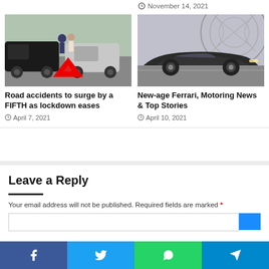November 14, 2021
[Figure (photo): Two people standing between two crashed cars on a road, with a red warning triangle]
Road accidents to surge by a FIFTH as lockdown eases
April 7, 2021
[Figure (photo): Dark grey Ferrari sports car driving on a road with a large domed structure in the background]
New-age Ferrari, Motoring News & Top Stories
April 10, 2021
Leave a Reply
Your email address will not be published. Required fields are marked *